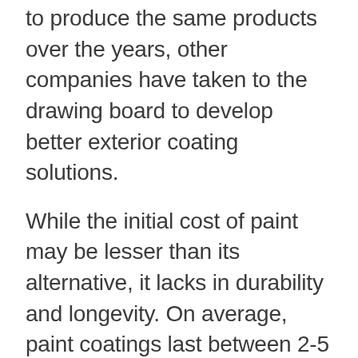to produce the same products over the years, other companies have taken to the drawing board to develop better exterior coating solutions.
While the initial cost of paint may be lesser than its alternative, it lacks in durability and longevity. On average, paint coatings last between 2-5 years, generally requiring more upkeep. In extreme temperatures and high humidity, homes with paint experience faster fading, peeling, and chipping rates than homes with other exterior coatings options.
Paint formulas are not breathable. Homes with porous surfaces such as stucco